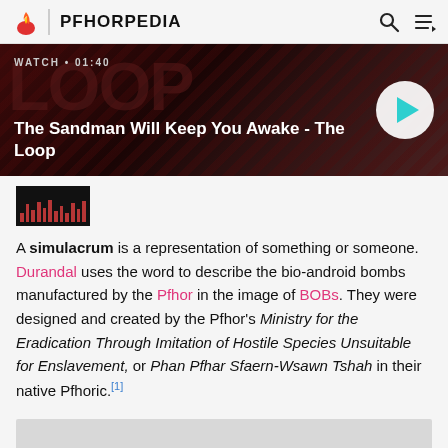PFHORPEDIA
[Figure (screenshot): Video banner thumbnail for 'The Sandman Will Keep You Awake - The Loop', dark red background with diagonal stripes, showing WATCH • 01:40 label and a circular play button]
[Figure (photo): Small dark thumbnail image with equalizer-style bars]
A simulacrum is a representation of something or someone. Durandal uses the word to describe the bio-android bombs manufactured by the Pfhor in the image of BOBs. They were designed and created by the Pfhor's Ministry for the Eradication Through Imitation of Hostile Species Unsuitable for Enslavement, or Phan Pfhar Sfaern-Wsawn Tshah in their native Pfhoric.[1]